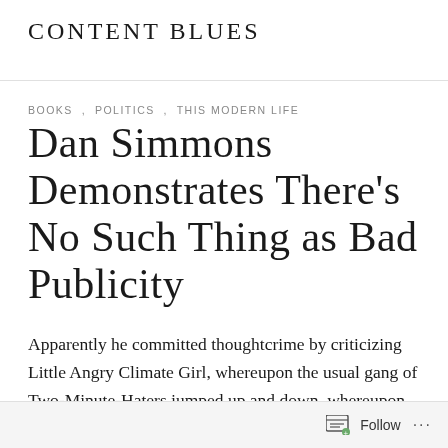Content Blues
BOOKS , POLITICS , THIS MODERN LIFE
Dan Simmons Demonstrates There's No Such Thing as Bad Publicity
Apparently he committed thoughtcrime by criticizing Little Angry Climate Girl, whereupon the usual gang of Two-Minute-Haters jumped up and down, whereupon his most well-known book shot up to #1 on Amazon. Larry Correia has the details
Follow ...